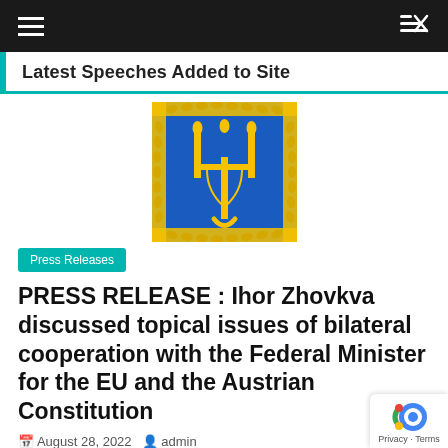≡  ⇌
Latest Speeches Added to Site
[Figure (illustration): Ukrainian Presidential Standard: blue square with golden trident (tryzub) in center, surrounded by golden laurel wreath border on all sides.]
Press Releases
PRESS RELEASE : Ihor Zhovkva discussed topical issues of bilateral cooperation with the Federal Minister for the EU and the Austrian Constitution
August 28, 2022   admin